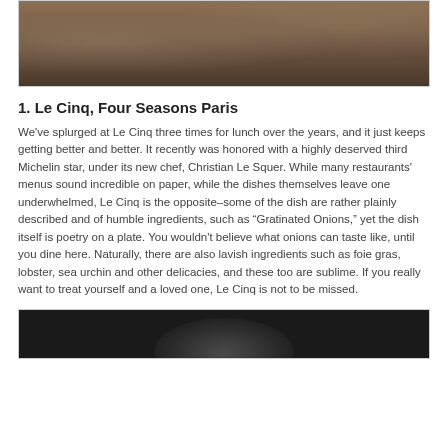[Figure (photo): Interior photo of Le Cinq restaurant at Four Seasons Paris showing wooden furniture and dining chairs]
1. Le Cinq, Four Seasons Paris
We've splurged at Le Cinq three times for lunch over the years, and it just keeps getting better and better. It recently was honored with a highly deserved third Michelin star, under its new chef, Christian Le Squer. While many restaurants' menus sound incredible on paper, while the dishes themselves leave one underwhelmed, Le Cinq is the opposite–some of the dish are rather plainly described and of humble ingredients, such as “Gratinated Onions,” yet the dish itself is poetry on a plate. You wouldn't believe what onions can taste like, until you dine here. Naturally, there are also lavish ingredients such as foie gras, lobster, sea urchin and other delicacies, and these too are sublime. If you really want to treat yourself and a loved one, Le Cinq is not to be missed.
[Figure (photo): Close-up photo of a dark dome-shaped dish or cloche on a plate at Le Cinq restaurant]